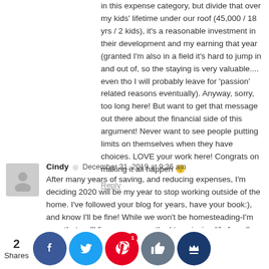in this expense category, but divide that over my kids' lifetime under our roof (45,000 / 18 yrs / 2 kids), it's a reasonable investment in their development and my earning that year (granted I'm also in a field it's hard to jump in and out of, so the staying is very valuable.... even tho I will probably leave for 'passion' related reasons eventually). Anyway, sorry, too long here! But want to get that message out there about the financial side of this argument! Never want to see people putting limits on themselves when they have choices. LOVE your work here! Congrats on making it all happen 🙂
Reply
Cindy ◎ December 31, 2019 at 9:36 am
After many years of saving, and reducing expenses, I'm deciding 2020 will be my year to stop working outside of the home. I've followed your blog for years, have your book:), and know I'll be fine! While we won't be homesteading-I'm sure that we'll fine our own method to enjoying life frugally without my income(as we do already!). Take care,
Reply
2 Shares